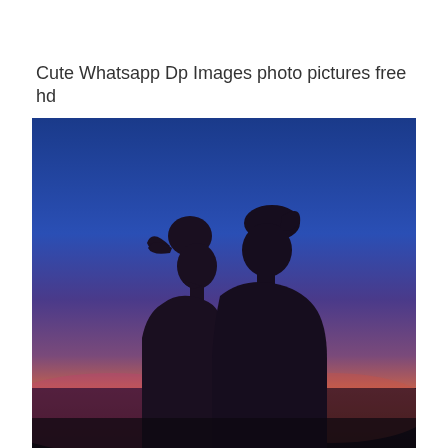Cute Whatsapp Dp Images photo pictures free hd
[Figure (photo): Silhouette of a couple facing each other against a twilight sky with blue, purple, and orange gradient colors]